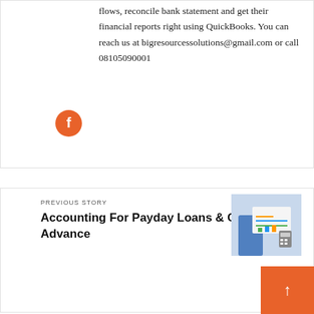flows, reconcile bank statement and get their financial reports right using QuickBooks. You can reach us at bigresourcessolutions@gmail.com or call 08105090001
[Figure (logo): Facebook icon — orange/red circular button with white 'f' letter]
PREVIOUS STORY
Accounting For Payday Loans & Cash Advance
[Figure (photo): Thumbnail photo of person reviewing financial charts and documents with a calculator]